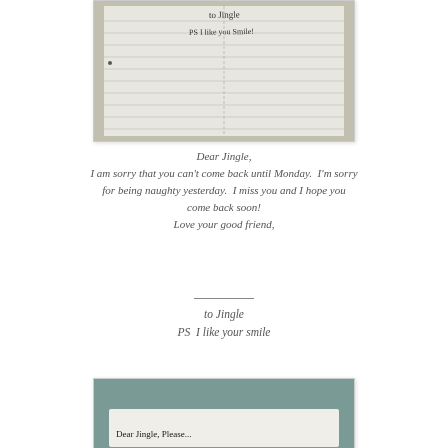[Figure (photo): Photo of a handwritten note on lined paper: 'to Jingle' and 'PS I like your smile']
Dear Jingle,
I am sorry that you can't come back until Monday.  I'm sorry for being naughty yesterday.  I miss you and I hope you come back soon!
Love your good friend,

________
to Jingle
PS  I like your smile
[Figure (photo): Photo of a handwritten letter beginning 'Dear Jingle, Please...' on white paper against a teal/grey background]